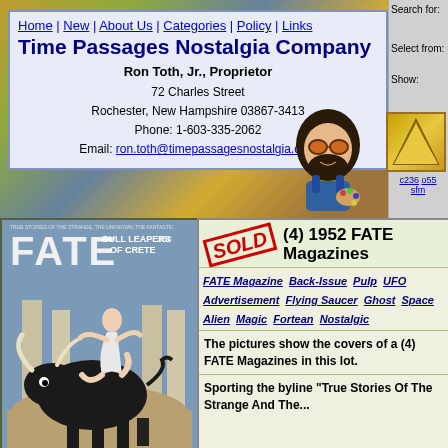Time Passages Nostalgia Company — Ron Toth, Jr., Proprietor | 72 Charles Street | Rochester, New Hampshire 03867-3413 | Phone: 1-603-335-2062 | Email: ron.toth@timepassagesnostalgia.com
Home | New | About Us | Categories | Policy | Links
Time Passages Nostalgia Company
Ron Toth, Jr., Proprietor
72 Charles Street
Rochester, New Hampshire 03867-3413
Phone: 1-603-335-2062
Email: ron.toth@timepassagesnostalgia.com
Search for:
Select from:
Show:
c236 o55
sfm
[Figure (photo): FATE magazine cover showing bull leapers of Crete — man acrobatically leaping over a bull]
(4) 1952 FATE Magazines
FATE Magazine  Back-Issue  Pulp  UFO  Advertisement  Flying Saucer  Ghost  Space  Alien  Magic  Fortean  Nostalgic
The pictures show the covers of a (4) FATE Magazines in this lot.
Sporting the byline "True Stories Of The Strange And The..."